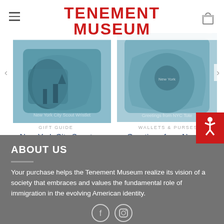[Figure (screenshot): Tenement Museum website header with red bold text logo 'TENEMENT MUSEUM', hamburger menu icon on left, cart icon on right]
[Figure (photo): New York City Scout Wristlet product photo - colorful illustrated bag]
GIFT GUIDE
New York City Scout Wristlet
$49.99
[Figure (photo): Greetings from New York City Small Tote product photo - illustrated tote bag]
WALLETS & PURSES
Greetings from New York City Small Tote
$99.00
ABOUT US
Your purchase helps the Tenement Museum realize its vision of a society that embraces and values the fundamental role of immigration in the evolving American identity.